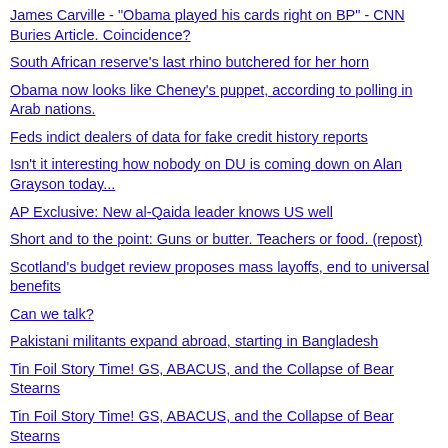James Carville - "Obama played his cards right on BP" - CNN Buries Article. Coincidence?
South African reserve's last rhino butchered for her horn
Obama now looks like Cheney's puppet, according to polling in Arab nations.
Feds indict dealers of data for fake credit history reports
Isn't it interesting how nobody on DU is coming down on Alan Grayson today...
AP Exclusive: New al-Qaida leader knows US well
Short and to the point: Guns or butter. Teachers or food. (repost)
Scotland's budget review proposes mass layoffs, end to universal benefits
Can we talk?
Pakistani militants expand abroad, starting in Bangladesh
Tin Foil Story Time! GS, ABACUS, and the Collapse of Bear Stearns
Tin Foil Story Time! GS, ABACUS, and the Collapse of Bear Stearns
Tin Foil Story Time! GS, ABACUS, and the Collapse of Bear Stearns
(MIC) Lobbyist charged with making illegal campaign donations
Pentagon may change rules for squaring Guantanamo trials